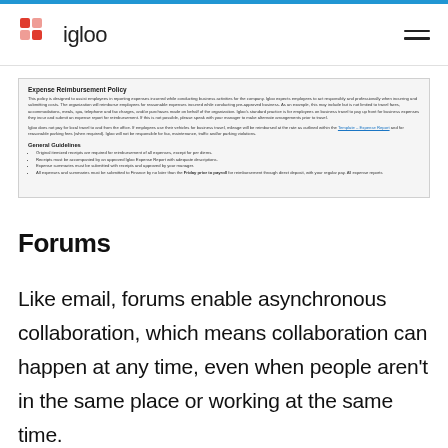igloo
[Figure (screenshot): Screenshot of an Expense Reimbursement Policy document showing title, introductory text, General Guidelines section with bullet points]
Forums
Like email, forums enable asynchronous collaboration, which means collaboration can happen at any time, even when people aren't in the same place or working at the same time.